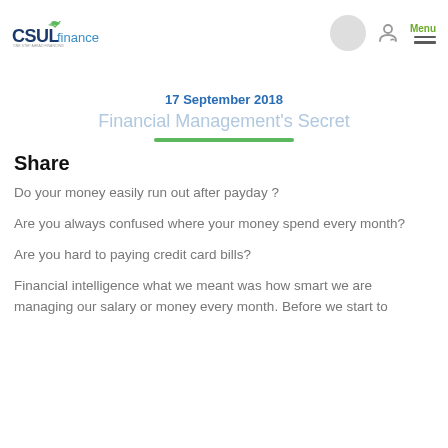CSUL Finance — Menu navigation header
17 September 2018
Financial Management's Secret
Share
Do your money easily run out after payday ?
Are you always confused where your money spend every month?
Are you hard to paying credit card bills?
Financial intelligence what we meant was how smart we are managing our salary or money every month. Before we start to